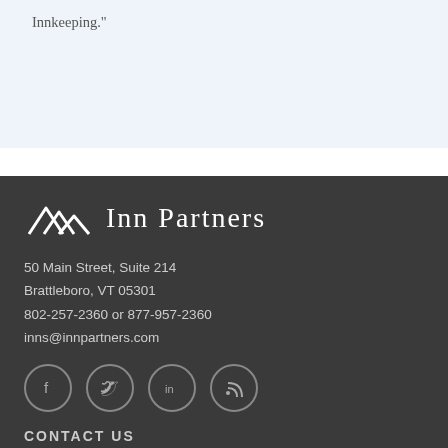Innkeeping."
[Figure (logo): Inn Partners logo with mountain peaks icon and text 'Inn Partners']
50 Main Street, Suite 214
Brattleboro, VT 05301
802-257-2360 or 877-957-2360
inns@innpartners.com
[Figure (illustration): Social media icons: Facebook, Twitter, LinkedIn, RSS feed]
CONTACT US